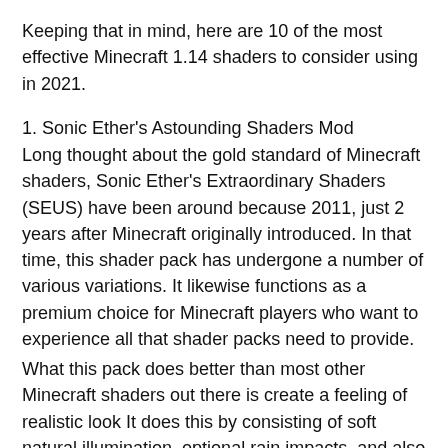Keeping that in mind, here are 10 of the most effective Minecraft 1.14 shaders to consider using in 2021.
1. Sonic Ether's Astounding Shaders Mod
Long thought about the gold standard of Minecraft shaders, Sonic Ether's Extraordinary Shaders (SEUS) have been around because 2011, just 2 years after Minecraft originally introduced. In that time, this shader pack has undergone a number of various variations. It likewise functions as a premium choice for Minecraft players who want to experience all that shader packs need to provide.
What this pack does better than most other Minecraft shaders out there is create a feeling of realistic look It does this by consisting of soft natural illumination, optional rain impacts, and also comparable effects to make the game look as realistic as possible.
Due to this, keep in mind that SEUS is one of one of the